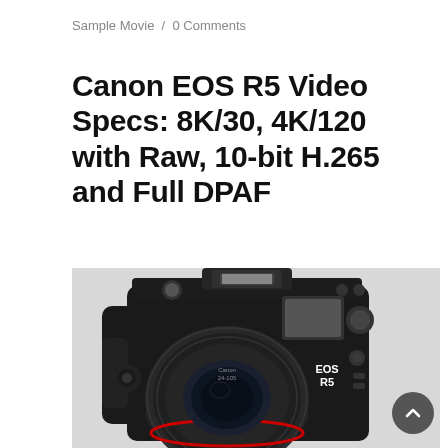Sample Movie / 0 Comments
Canon EOS R5 Video Specs: 8K/30, 4K/120 with Raw, 10-bit H.265 and Full DPAF
[Figure (photo): Front view of Canon EOS R5 mirrorless camera with RF lens attached, showing Canon branding and EOS R5 markings, on a light gray background. A circular scroll-to-top button is visible in the bottom right corner.]